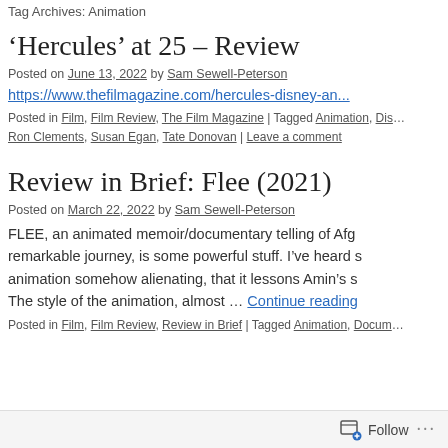Tag Archives: Animation
‘Hercules’ at 25 – Review
Posted on June 13, 2022 by Sam Sewell-Peterson
https://www.thefilmagazine.com/hercules-disney-an...
Posted in Film, Film Review, The Film Magazine | Tagged Animation, Dis... Ron Clements, Susan Egan, Tate Donovan | Leave a comment
Review in Brief: Flee (2021)
Posted on March 22, 2022 by Sam Sewell-Peterson
FLEE, an animated memoir/documentary telling of Afg... remarkable journey, is some powerful stuff. I’ve heard s... animation somehow alienating, that it lessons Amin’s s... The style of the animation, almost … Continue reading
Posted in Film, Film Review, Review in Brief | Tagged Animation, Docum...